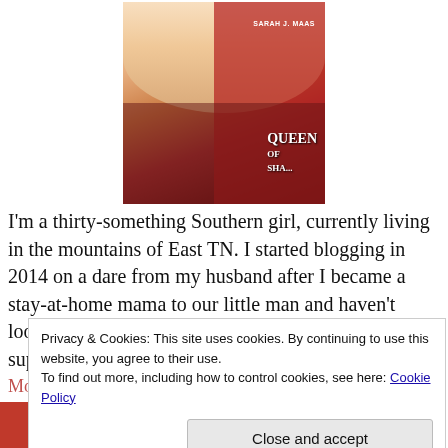[Figure (photo): Woman smiling and holding up a book 'Queen of Shadows' by Sarah J. Maas]
I'm a thirty-something Southern girl, currently living in the mountains of East TN. I started blogging in 2014 on a dare from my husband after I became a stay-at-home mama to our little man and haven't looked back. When I'm not blogging or reading, I'm a superhero or a Jedi and sometimes I'm just Mom.
More About Me »
Privacy & Cookies: This site uses cookies. By continuing to use this website, you agree to their use.
To find out more, including how to control cookies, see here: Cookie Policy
Close and accept
Featured on
BookSirens